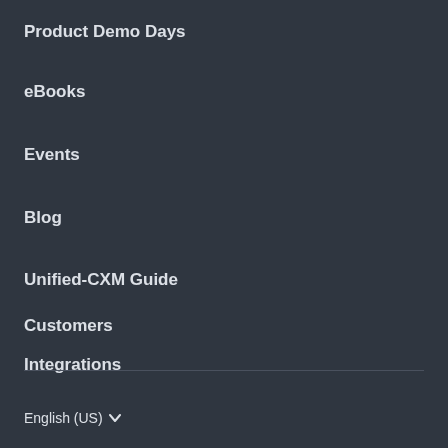Product Demo Days
eBooks
Events
Blog
Unified-CXM Guide
Customers
Integrations
English (US)